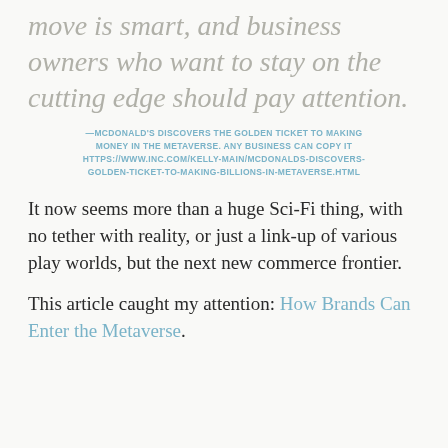move is smart, and business owners who want to stay on the cutting edge should pay attention.
—McDonald's Discovers the Golden Ticket to Making Money in the Metaverse. Any Business Can Copy It https://www.inc.com/kelly-main/mcdonalds-discovers-golden-ticket-to-making-billions-in-metaverse.html
It now seems more than a huge Sci-Fi thing, with no tether with reality, or just a link-up of various play worlds, but the next new commerce frontier.
This article caught my attention: How Brands Can Enter the Metaverse.